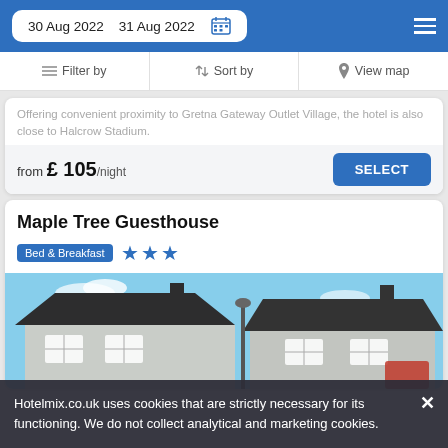30 Aug 2022   31 Aug 2022
Filter by   Sort by   View map
Offering convenient proximity to Gretna Gateway Outlet Village, the hotel is also close to Halcrow Stadium.
from £ 105/night   SELECT
Maple Tree Guesthouse
Bed & Breakfast ★★★
[Figure (photo): Exterior photo of Maple Tree Guesthouse showing a white/grey stone building with dark roof under blue sky with a lamp post]
Hotelmix.co.uk uses cookies that are strictly necessary for its functioning. We do not collect analytical and marketing cookies.